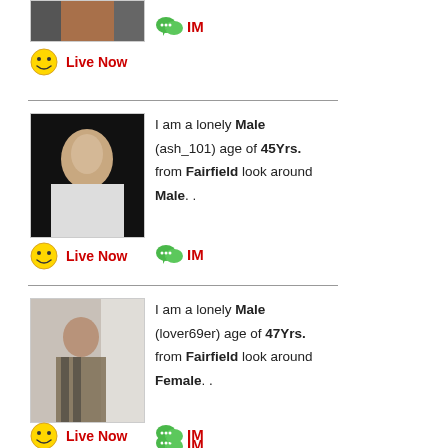[Figure (screenshot): Top section: user profile photo (partially visible, cropped at top), with IM icon and Live Now button]
IM
Live Now
[Figure (photo): Profile photo of a male user (ash_101), white shirt, dark background]
I am a lonely Male (ash_101) age of 45Yrs. from Fairfield look around Male. .
IM
Live Now
[Figure (photo): Profile photo of a male user (lover69er), striped shirt, standing indoors]
I am a lonely Male (lover69er) age of 47Yrs. from Fairfield look around Female. .
IM
Live Now